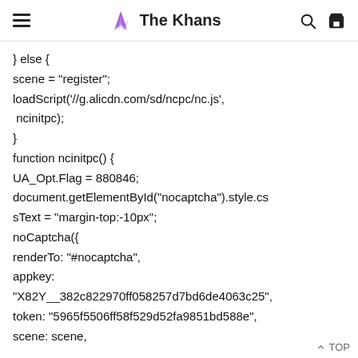The Khans
} else {
scene = "register";
loadScript('//g.alicdn.com/sd/ncpc/nc.js', ncinitpc);
}
function ncinitpc() {
UA_Opt.Flag = 880846;
document.getElementById("nocaptcha").style.cssText = "margin-top:-10px";
noCaptcha({
renderTo: "#nocaptcha",
appkey: "X82Y__382c822970ff058257d7bd6de4063c25",
token: "5965f5506ff58f529d52fa9851bd588e",
scene: scene,